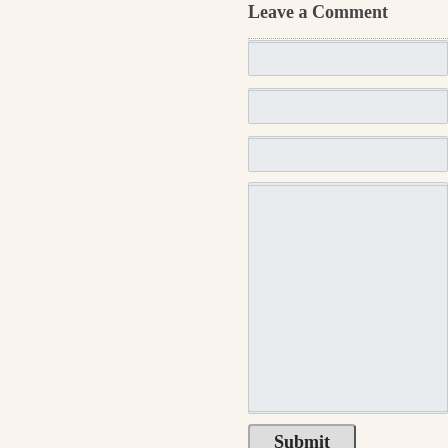Leave a Comment
[Figure (screenshot): Web form with input fields, submit button, spam confirmation checkbox, and CommentLuv checkbox with logo]
This blog uses premium CommentLuv which allows approved comments. Use your real name and the...